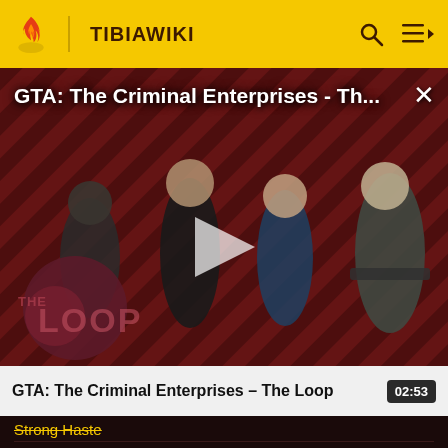TIBIAWIKI
[Figure (screenshot): Video thumbnail for GTA: The Criminal Enterprises - The Loop, showing game characters on a red diagonal stripe background with THE LOOP logo overlay and a play button in the center.]
GTA: The Criminal Enterprises - The Loop
02:53
Strong Haste (strikethrough)
Sudden Death
Summon Creature
Summon Druid Familiar